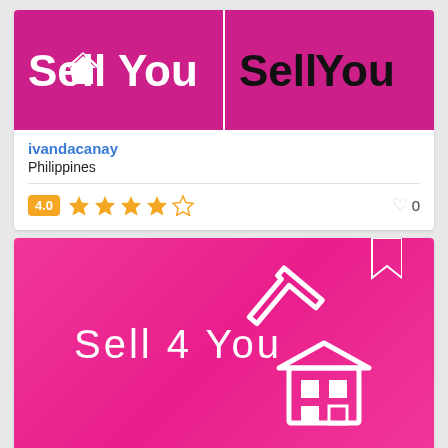[Figure (logo): Sell4You logo on magenta/pink background split into two panels - left panel white text, right panel black text]
ivandacanay
Philippines
4.0  ★★★★☆  0
[Figure (logo): Sell 4 You logo on hot pink background with white house/arrow icon]
mahmoudrf